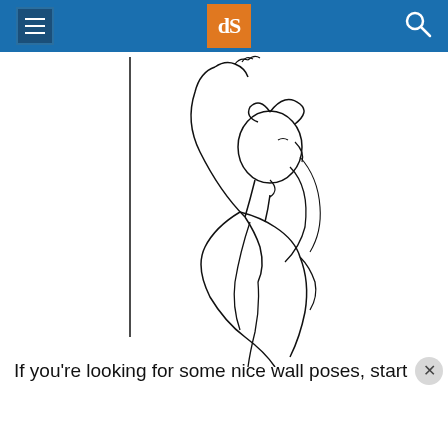dPS (Digital Photography School) header with hamburger menu, logo, and search icon
[Figure (illustration): Line drawing illustration of a woman leaning against a wall with her arms raised above her head, shown from the side profile. The figure is rendered in minimalist black ink strokes on white background.]
If you're looking for some nice wall poses, start